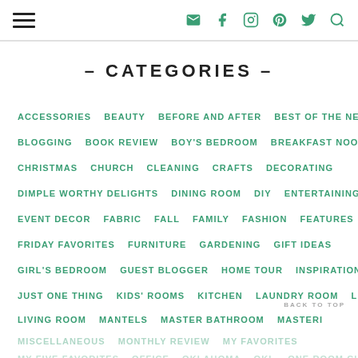Navigation header with hamburger menu and social icons
– CATEGORIES –
ACCESSORIES
BEAUTY
BEFORE AND AFTER
BEST OF THE NEST
BLOGGING
BOOK REVIEW
BOY'S BEDROOM
BREAKFAST NOOK
CHRISTMAS
CHURCH
CLEANING
CRAFTS
DECORATING
DIMPLE WORTHY DELIGHTS
DINING ROOM
DIY
ENTERTAINING
ENTRY
EVENT DECOR
FABRIC
FALL
FAMILY
FASHION
FEATURES
FRIDAY FAVORITES
FURNITURE
GARDENING
GIFT IDEAS
GIRL'S BEDROOM
GUEST BLOGGER
HOME TOUR
INSPIRATION
JUST ONE THING
KIDS' ROOMS
KITCHEN
LAUNDRY ROOM
LIGHTING
LIVING ROOM
MANTELS
MASTER BATHROOM
MASTEI
MISCELLANEOUS
MONTHLY REVIEW
MY FAVORITES
MY FIVE FAVORITES
OFFICE
OKLAHOMA
OKL
ONE ROOM CHALL...